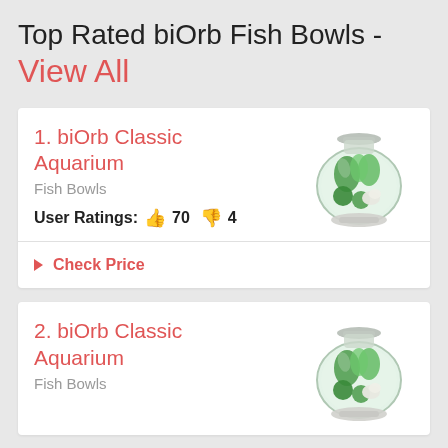Top Rated biOrb Fish Bowls - View All
1. biOrb Classic Aquarium
Fish Bowls
User Ratings: 👍 70 👎 4
Check Price
2. biOrb Classic Aquarium
Fish Bowls